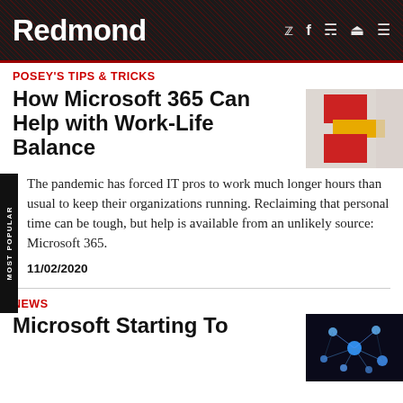Redmond
POSEY'S TIPS & TRICKS
How Microsoft 365 Can Help with Work-Life Balance
[Figure (photo): Abstract image with red and yellow geometric shapes on a light background]
The pandemic has forced IT pros to work much longer hours than usual to keep their organizations running. Reclaiming that personal time can be tough, but help is available from an unlikely source: Microsoft 365.
11/02/2020
NEWS
Microsoft Starting To
[Figure (photo): Network/neural diagram with blue spheres and connections on dark background]